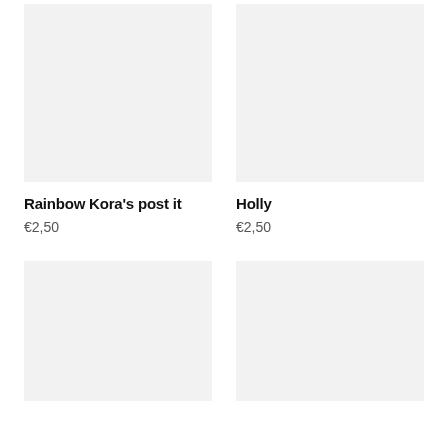[Figure (photo): Product image placeholder - light gray rectangle for Rainbow Kora's post it]
[Figure (photo): Product image placeholder - light gray rectangle for Holly]
Rainbow Kora's post it
€2,50
Holly
€2,50
[Figure (photo): Product image placeholder - light gray rectangle (bottom left)]
[Figure (photo): Product image placeholder - light gray rectangle (bottom right)]